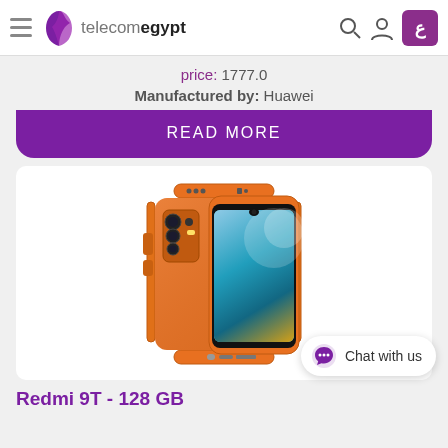telecomegypt
price: 1777.0
Manufactured by: Huawei
READ MORE
[Figure (photo): Xiaomi Redmi 9T smartphone shown from multiple angles including front, back, and sides, in orange color]
Redmi 9T - 128 GB